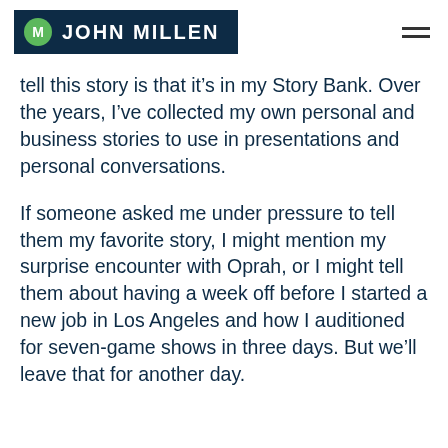M JOHN MILLEN
tell this story is that it’s in my Story Bank. Over the years, I’ve collected my own personal and business stories to use in presentations and personal conversations.
If someone asked me under pressure to tell them my favorite story, I might mention my surprise encounter with Oprah, or I might tell them about having a week off before I started a new job in Los Angeles and how I auditioned for seven-game shows in three days. But we’ll leave that for another day.